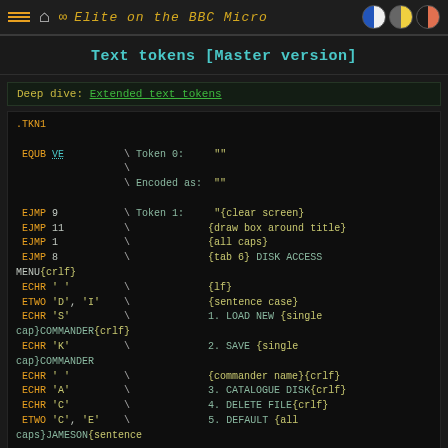Elite on the BBC Micro
Text tokens [Master version]
Deep dive: Extended text tokens
.TKN1

 EQUB VE          \ Token 0:     ""
                  \
                  \ Encoded as:  ""

 EJMP 9           \ Token 1:     "{clear screen}
 EJMP 11          \             {draw box around title}
 EJMP 1           \             {all caps}
 EJMP 8           \             {tab 6} DISK ACCESS
MENU{crlf}
 ECHR ' '         \             {lf}
 ETWO 'D', 'I'    \             {sentence case}
 ECHR 'S'         \             1. LOAD NEW {single
cap}COMMANDER{crlf}
 ECHR 'K'         \             2. SAVE {single
cap}COMMANDER
 ECHR ' '         \             {commander name}{crlf}
 ECHR 'A'         \             3. CATALOGUE DISK{crlf}
 ECHR 'C'         \             4. DELETE FILE{crlf}
 ETWO 'C', 'E'    \             5. DEFAULT {all
caps}JAMESON{sentence